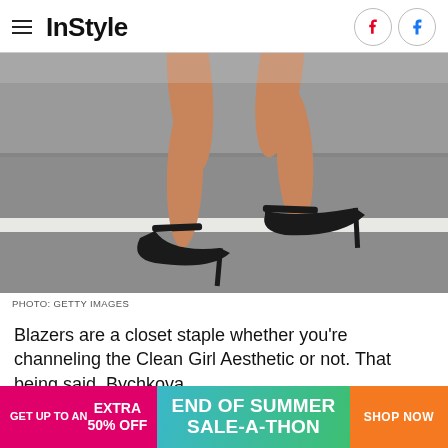InStyle
[Figure (photo): Close-up of a woman's legs wearing black stiletto heels with ankle straps, crossing a road with white lane markings.]
PHOTO: GETTY IMAGES
Blazers are a closet staple whether you're channeling the Clean Girl Aesthetic or not. That being said, Bychkova
[Figure (infographic): Advertisement banner: End of Summer Sale-A-Thon. Get up to an EXTRA 50% OFF. Shop Now button in orange.]